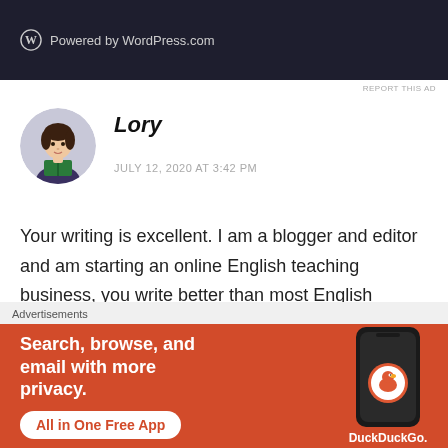[Figure (screenshot): Dark top banner with WordPress.com logo and text 'Powered by WordPress.com']
REPORT THIS AD
[Figure (illustration): Round avatar of an illustrated woman with dark hair reading a book]
Lory
JULY 12, 2020 AT 3:42 PM
Your writing is excellent. I am a blogger and editor and am starting an online English teaching business, you write better than most English speakers. If it takes you a lot of
Advertisements
[Figure (screenshot): DuckDuckGo advertisement banner: orange background with text 'Search, browse, and email with more privacy.' and 'All in One Free App', alongside a phone image with DuckDuckGo logo]